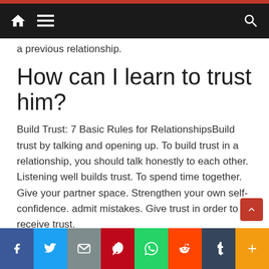Navigation bar with home, menu, and search icons
a previous relationship.
How can I learn to trust him?
Build Trust: 7 Basic Rules for RelationshipsBuild trust by talking and opening up. To build trust in a relationship, you should talk honestly to each other. Listening well builds trust. To spend time together. Give your partner space. Strengthen your own self-confidence. admit mistakes. Give trust in order to receive trust.
How do I trust myself?
Trust and self-love become joie de vivre. If you feel like t... ... faith for 30
[Figure (screenshot): Social media sharing bar with Facebook, Twitter, Email, Pinterest, WhatsApp, Reddit, Tumblr, and More (+) buttons]